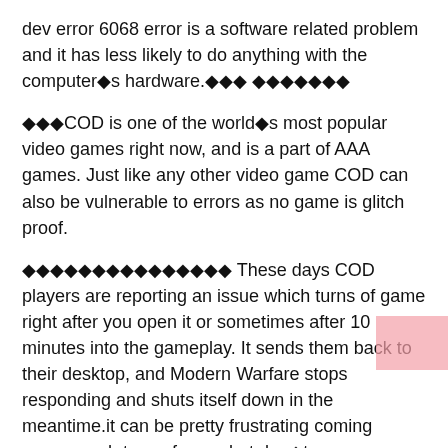dev error 6068 error is a software related problem and it has less likely to do anything with the computer�s hardware.��� �������
���COD is one of the world�s most popular video games right now, and is a part of AAA games. Just like any other video game COD can also be vulnerable to errors as no game is glitch proof.
��������������� These days COD players are reporting an issue which turns of game right after you open it or sometimes after 10 minutes into the gameplay. It sends them back to their desktop, and Modern Warfare stops responding and shuts itself down in the meantime.it can be pretty frustrating coming across such type of error, but don�t worry, we have several solutions for you that will fix this problem.
Fixing the dev error 6068: